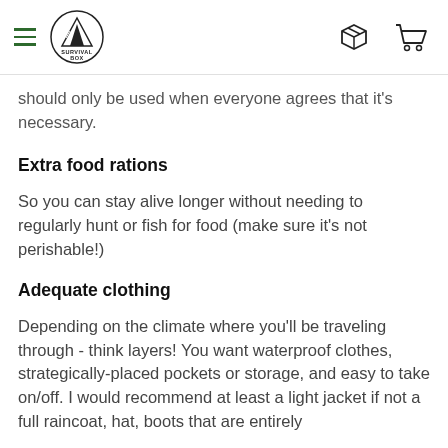Survival Box — navigation header with hamburger menu, logo, box icon, and cart icon
should only be used when everyone agrees that it's necessary.
Extra food rations
So you can stay alive longer without needing to regularly hunt or fish for food (make sure it's not perishable!)
Adequate clothing
Depending on the climate where you'll be traveling through - think layers! You want waterproof clothes, strategically-placed pockets or storage, and easy to take on/off. I would recommend at least a light jacket if not a full raincoat, hat, boots that are entirely